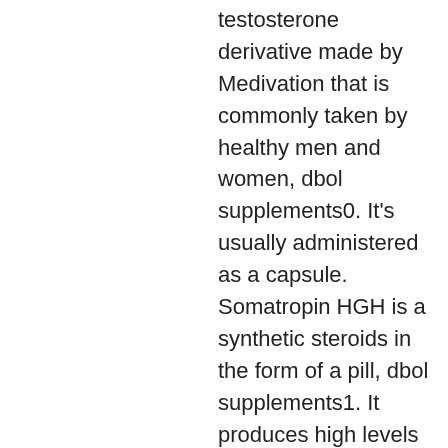testosterone derivative made by Medivation that is commonly taken by healthy men and women, dbol supplements0. It's usually administered as a capsule. Somatropin HGH is a synthetic steroids in the form of a pill, dbol supplements1. It produces high levels of the same hormone that naturally fuels your body: androgen. In other words it can stop your body using steroids and help your muscle and bones grow. Some people experience very little side effects, while others are more severe, dbol supplements2. You may feel tired, dizzy, nauseated and tired from taking the medicine for as little as 3 months, which may give you a 'pale tingle' and feel 'cold and fuzzy'. If this happens to you, it's important to go to the doctor within 2 weeks to rule out a real underlying medical condition. It's important to understand that Somatropin HGH can't